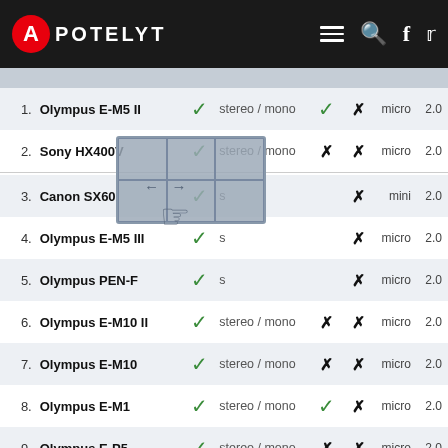APOTELYT
| # | Camera |  | Mode |  |  | Size | Ver |
| --- | --- | --- | --- | --- | --- | --- | --- |
| 1. | Olympus E-M5 II | ✓ | stereo / mono | ✓ | ✗ | micro | 2.0 |
| 2. | Sony HX400V | ✓ | stereo / mono | ✗ | ✗ | micro | 2.0 |
| 3. | Canon SX60 | ✓ | s |  | ✗ | mini | 2.0 |
| 4. | Olympus E-M5 III | ✓ | s |  | ✗ | micro | 2.0 |
| 5. | Olympus PEN-F | ✓ | s |  | ✗ | micro | 2.0 |
| 6. | Olympus E-M10 II | ✓ | stereo / mono | ✗ | ✗ | micro | 2.0 |
| 7. | Olympus E-M10 | ✓ | stereo / mono | ✗ | ✗ | micro | 2.0 |
| 8. | Olympus E-M1 | ✓ | stereo / mono | ✓ | ✗ | micro | 2.0 |
| 9. | Olympus E-P5 | ✓ | stereo / mono | ✗ | ✗ | micro | 2.0 |
| 10. | Olympus E-M5 | ✓ | stereo / mono | ✗ | ✗ | mini | 2.0 |
| 11. | Panasonic G85 | ✓ | stereo / mono | ✓ | ✗ | micro | 2.0 |
| 12. | Panasonic GX85 | ✓ | stereo / mono | ✗ | ✗ | micro | 2.0 |